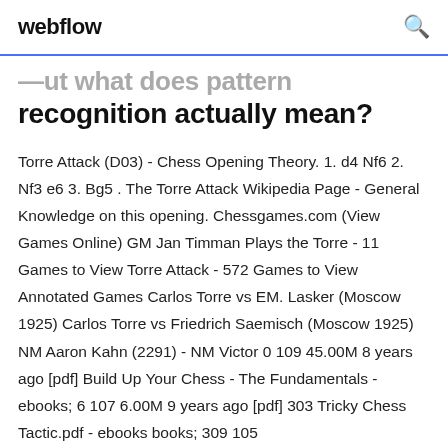webflow
But what does pattern recognition actually mean?
Torre Attack (D03) - Chess Opening Theory. 1. d4 Nf6 2. Nf3 e6 3. Bg5 . The Torre Attack Wikipedia Page - General Knowledge on this opening. Chessgames.com (View Games Online) GM Jan Timman Plays the Torre - 11 Games to View Torre Attack - 572 Games to View Annotated Games Carlos Torre vs EM. Lasker (Moscow 1925) Carlos Torre vs Friedrich Saemisch (Moscow 1925) NM Aaron Kahn (2291) - NM Victor 0 109 45.00M 8 years ago [pdf] Build Up Your Chess - The Fundamentals - ebooks; 6 107 6.00M 9 years ago [pdf] 303 Tricky Chess Tactic.pdf - ebooks books; 309 105